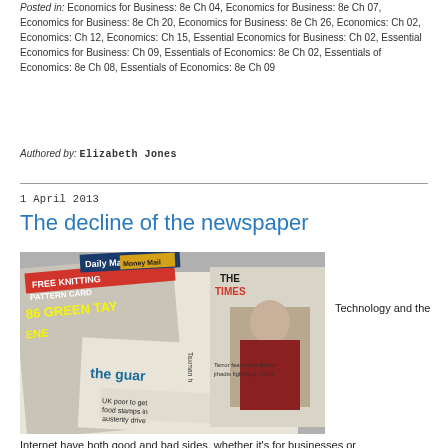Posted in: Economics for Business: 8e Ch 04, Economics for Business: 8e Ch 07, Economics for Business: 8e Ch 20, Economics for Business: 8e Ch 26, Economics: Ch 02, Economics: Ch 12, Economics: Ch 15, Essential Economics for Business: Ch 02, Essential Economics for Business: Ch 09, Essentials of Economics: 8e Ch 02, Essentials of Economics: 8e Ch 08, Essentials of Economics: 8e Ch 09
Authored by: Elizabeth Jones
1 April 2013
The decline of the newspaper
[Figure (photo): Photograph of multiple newspaper front pages displayed at a newsstand, including the Daily Mail, The Times, and The Guardian]
Technology and the
Internet have both good and bad sides, whether it's for businesses or